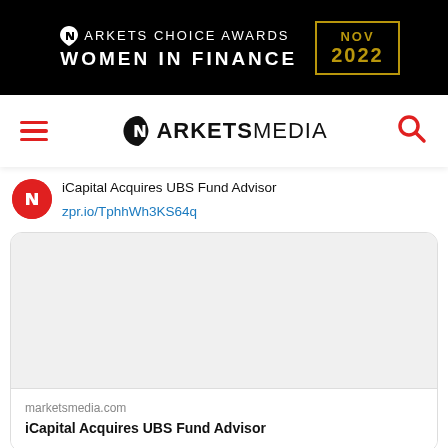[Figure (logo): Markets Choice Awards Women in Finance NOV 2022 banner advertisement on black background with gold border accent]
[Figure (logo): Markets Media navigation bar with hamburger menu, Markets Media logo, and search icon]
iCapital Acquires UBS Fund Advisor
zpr.io/TphhWh3KS64q
[Figure (screenshot): Embedded card preview showing blank image area with marketsmedia.com domain label and title 'iCapital Acquires UBS Fund Advisor']